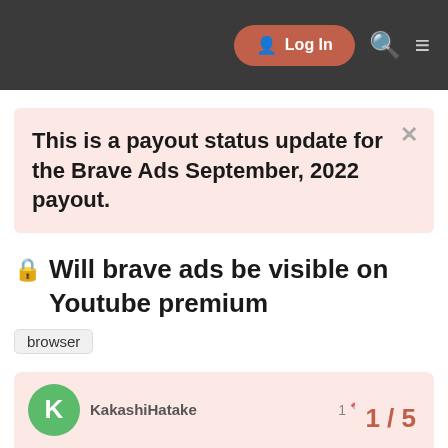Log In
This is a payout status update for the Brave Ads September, 2022 payout.
Will brave ads be visible on Youtube premium
browser
KakashiHatake  1  Dec '21
Hello everyone, I had a question about Brave ads that is if the ads will be shown on the Youtube platform and adding to that since I have availed Yo one of the features of YT premium is
1 / 5